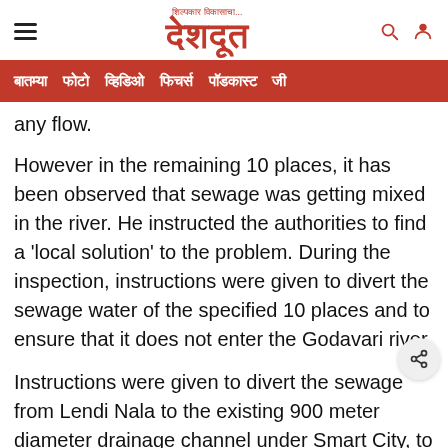देशदूत — शिल्पकार विकासाचा...
बातम्या  फोटो  व्हिडिओ  फिचर्स  पॉडकास्ट  जी
any flow.
However in the remaining 10 places, it has been observed that sewage was getting mixed in the river. He instructed the authorities to find a 'local solution' to the problem. During the inspection, instructions were given to divert the sewage water of the specified 10 places and to ensure that it does not enter the Godavari river.
Instructions were given to divert the sewage from Lendi Nala to the existing 900 meter diameter drainage channel under Smart City, to connect the sewage line to the drainage line on the main road at Ramwadi, sewage line at Malhar Khan to be connected by